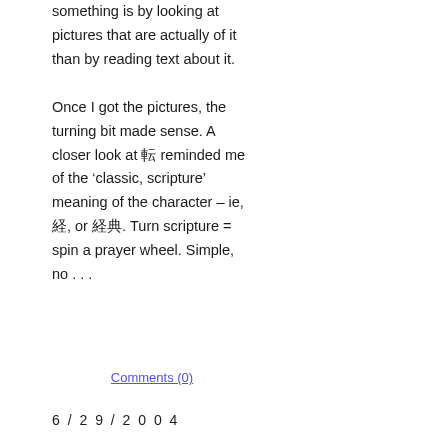something is by looking at pictures that are actually of it than by reading text about it.

Once I got the pictures, the turning bit made sense. A closer look at 転 reminded me of the 'classic, scripture' meaning of the character – ie, 経, or 経典. Turn scripture = spin a prayer wheel. Simple, no . . .
Comments (0)
6 / 2 9 / 2 0 0 4